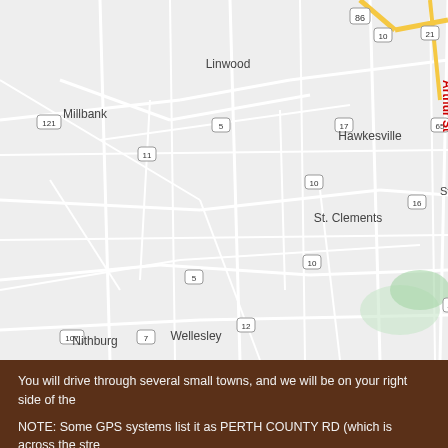[Figure (map): Road map showing small towns in Ontario, Canada including Linwood, Millbank, Hawkesville, St. Clements, Nithburg, Wellesley, St. Agatha, Amulree, and road numbers 5, 7, 10, 11, 12, 16, 17, 21, 40, 65, 86, 107, 121. Arthur St label visible on right edge in red. St. Jacobs partially visible on right.]
You will drive through several small towns, and we will be on your right side of the
NOTE: Some GPS systems list it as PERTH COUNTY RD (which is across the stre
Feel free to call 519-894-0890 or email accounting@sign-depot.on.ca for specifi